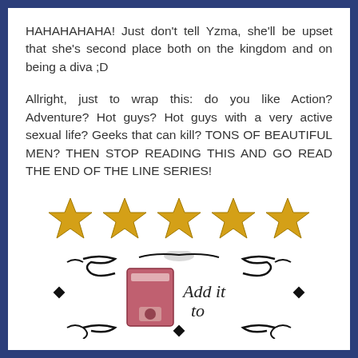HAHAHAHAHA! Just don't tell Yzma, she'll be upset that she's second place both on the kingdom and on being a diva ;D
Allright, just to wrap this: do you like Action? Adventure? Hot guys? Hot guys with a very active sexual life? Geeks that can kill? TONS OF BEAUTIFUL MEN? THEN STOP READING THIS AND GO READ THE END OF THE LINE SERIES!
[Figure (illustration): Five gold five-pointed stars in a row representing a 5-star rating]
[Figure (illustration): Decorative ornamental border with a book image and cursive text 'Add it to' — a Goodreads add-to-shelf badge]